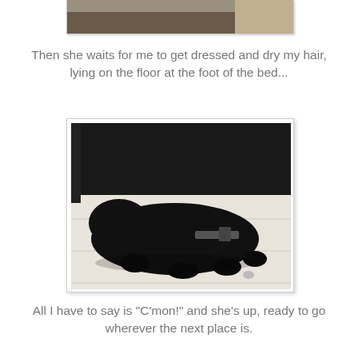[Figure (photo): Partial view of a photo showing a dark/brown scene, cropped at top of page]
Then she waits for me to get dressed and dry my hair, lying on the floor at the foot of the bed...
[Figure (photo): A black dog lying on a white wooden floor at the foot of a dark bed/furniture, viewed from above]
All I have to say is "C'mon!" and she's up, ready to go wherever the next place is.